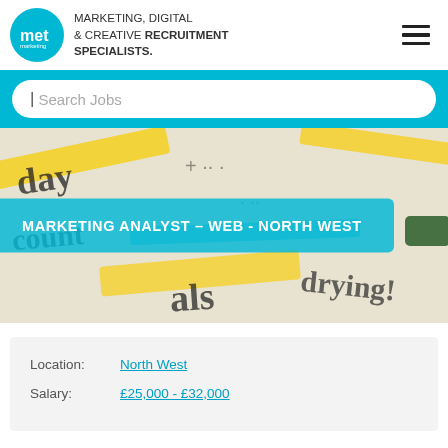[Figure (logo): met marketing logo circle with text: MARKETING, DIGITAL & CREATIVE RECRUITMENT SPECIALISTS.]
| Search Jobs
[Figure (photo): Background photo of handwritten text, markers, and doodles on paper in yellow and black]
MARKETING ANALYST – WEB - NORTH WEST
Location: North West
Salary: £25,000 - £32,000